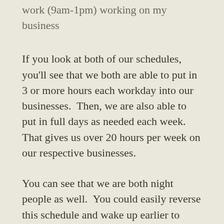work (9am-1pm) working on my business
If you look at both of our schedules, you'll see that we both are able to put in 3 or more hours each workday into our businesses.  Then, we are also able to put in full days as needed each week.  That gives us over 20 hours per week on our respective businesses.
You can see that we are both night people as well.  You could easily reverse this schedule and wake up earlier to work on your site if you found yourself to be more of a morning person.  Or, you could stay up later.  Pat Flynn from Smart Passive Income stays up notoriously late working on his business.
Finally, don't be afraid to leverage vacation for your business.  I've taken vacations to coordinate around project launches or as breaks from my day job to focus on my side job.  For example, before launching